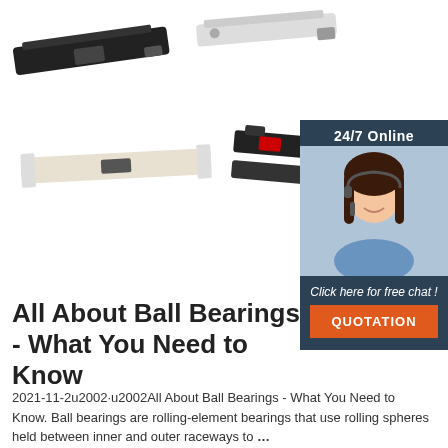[Figure (photo): Four product images of flat sliding window locks/latches in black and white colors, arranged in two rows on a white background]
[Figure (infographic): 24/7 Online chat widget showing a female customer service agent wearing a headset, with dark blue background, text 'Click here for free chat!', and an orange QUOTATION button]
All About Ball Bearings - What You Need to Know
2021-11-2u2002·u2002All About Ball Bearings - What You Need to Know. Ball bearings are rolling-element bearings that use rolling spheres held between inner and outer raceways to...